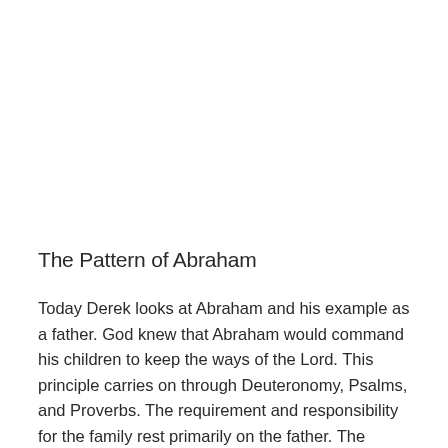The Pattern of Abraham
Today Derek looks at Abraham and his example as a father. God knew that Abraham would command his children to keep the ways of the Lord. This principle carries on through Deuteronomy, Psalms, and Proverbs. The requirement and responsibility for the family rest primarily on the father. The benefit is that the whole family will be blessed.